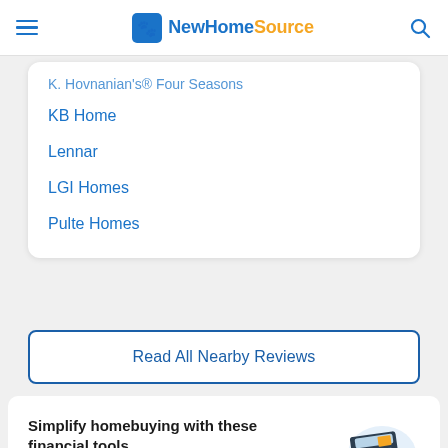NewHomeSource
K. Hovnanian's® Four Seasons
KB Home
Lennar
LGI Homes
Pulte Homes
Read All Nearby Reviews
Simplify homebuying with these financial tools
See all tools ⓟ